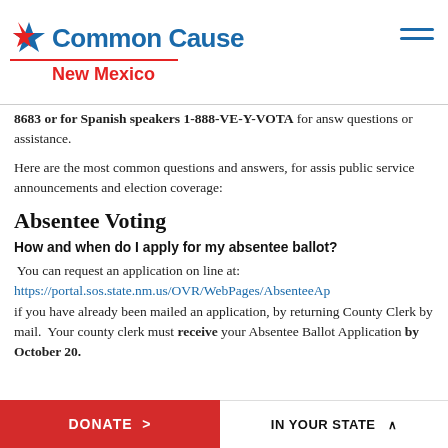Common Cause New Mexico
8683 or for Spanish speakers 1-888-VE-Y-VOTA for answers to questions or assistance.
Here are the most common questions and answers, for assistance, public service announcements and election coverage:
Absentee Voting
How and when do I apply for my absentee ballot?
You can request an application on line at: https://portal.sos.state.nm.us/OVR/WebPages/AbsenteeAp if you have already been mailed an application, by returning County Clerk by mail. Your county clerk must receive your Absentee Ballot Application by October 20.
DONATE > | IN YOUR STATE ^